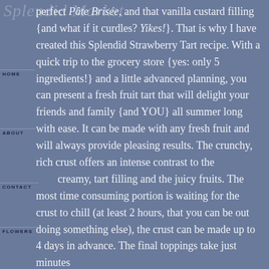Splendid Market
perfect Pâte Brisée, and that vanilla custard filling {and what if it curdles? Yikes!}. That is why I have created this Splendid Strawberry Tart recipe. With a quick trip to the grocery store {yes: only 5 ingredients!} and a little advanced planning, you can present a fresh fruit tart that will delight your friends and family {and YOU} all summer long with ease. It can be made with any fresh fruit and will always provide pleasing results. The crunchy, rich crust offers an intense contrast to the creamy, tart filling and the juicy fruits. The most time consuming portion is waiting for the crust to chill (at least 2 hours, that you can be out doing something else), the crust can be made up to 4 days in advance. The final toppings take just minutes
HOME
ABOUT
CONTACT
FLOWERS
FATES
FOOD
FIND
FARAWAY PLACES